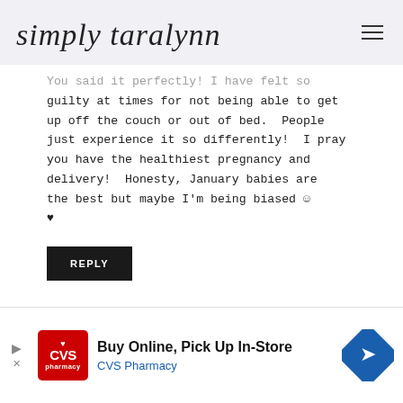simply taralynn
You said it perfectly! I have felt so guilty at times for not being able to get up off the couch or out of bed. People just experience it so differently! I pray you have the healthiest pregnancy and delivery! Honesty, January babies are the best but maybe I'm being biased ☺ ♥
REPLY
[Figure (other): CVS Pharmacy advertisement banner: Buy Online, Pick Up In-Store]